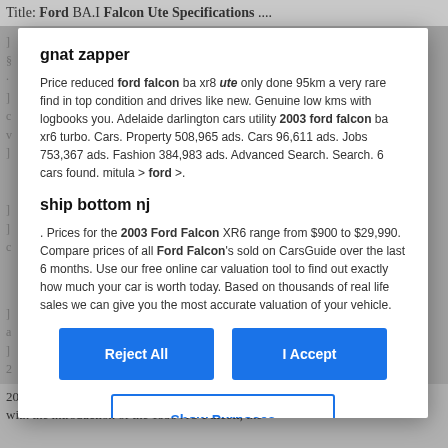Title: Ford BA.I Falcon Ute Specifications ....
Price reduced ford falcon ba xr8 ute only done 95km a very rare find in top condition and drives like new. Genuine low kms with logbooks you. Adelaide darlington cars utility 2003 ford falcon ba xr6 turbo. Cars. Property 508,965 ads. Cars 96,611 ads. Jobs 753,367 ads. Fashion 384,983 ads. Advanced Search. Search. 6 cars found. mitula > ford >.
gnat zapper
ship bottom nj
. Prices for the 2003 Ford Falcon XR6 range from $900 to $29,990. Compare prices of all Ford Falcon's sold on CarsGuide over the last 6 months. Use our free online car valuation tool to find out exactly how much your car is worth today. Based on thousands of real life sales we can give you the most accurate valuation of your vehicle.
Reject All
I Accept
Show Purposes
2016. For the first 38 years of production, the design used a coupe ute style, but with the introduction of the 1999 AU Falcon, the